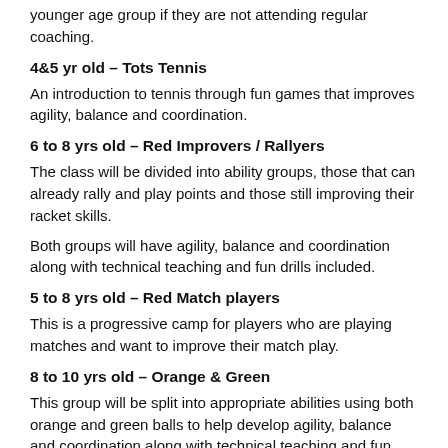younger age group if they are not attending regular coaching.
4&5 yr old – Tots Tennis
An introduction to tennis through fun games that improves agility, balance and coordination.
6 to 8 yrs old – Red Improvers / Rallyers
The class will be divided into ability groups, those that can already rally and play points and those still improving their racket skills.
Both groups will have agility, balance and coordination along with technical teaching and fun drills included.
5 to 8 yrs old – Red Match players
This is a progressive camp for players who are playing matches and want to improve their match play.
8 to 10 yrs old – Orange & Green
This group will be split into appropriate abilities using both orange and green balls to help develop agility, balance and coordination along with technical teaching and fun drills.
11 to 13 yrs old Yellow Beginners